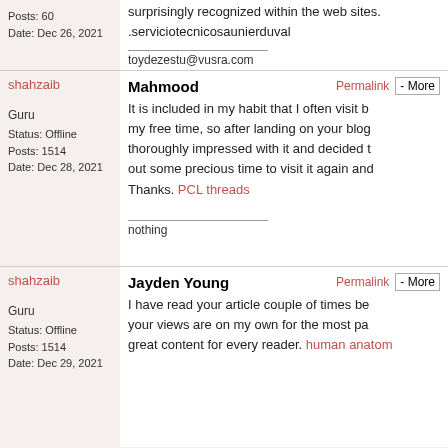Posts: 60
Date: Dec 26, 2021
surprisingly recognized within the web sites. .serviciotecnicosaunierduval
toydezestu@vusra.com
shahzaib
Mahmood
Permalink - More
Guru
Status: Offline
Posts: 1514
Date: Dec 28, 2021
It is included in my habit that I often visit b... my free time, so after landing on your blog I am thoroughly impressed with it and decided to put out some precious time to visit it again and... Thanks. PCL threads
nothing
shahzaib
Jayden Young
Permalink - More
Guru
Status: Offline
Posts: 1514
Date: Dec 29, 2021
I have read your article couple of times be... your views are on my own for the most pa... great content for every reader. human anatom...